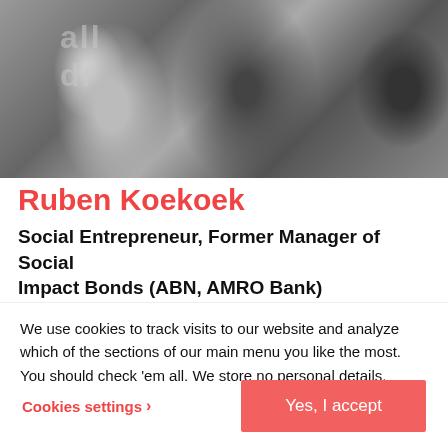[Figure (photo): Black and white photo of a man in a suit holding a microphone, with another person in the background holding papers. Partial text 'all' and 'dr' visible on a banner in the background.]
Ruben Koekoek
Social Entrepreneur, Former Manager of Social Impact Bonds (ABN, AMRO Bank)
Amsterdam, NL
We use cookies to track visits to our website and analyze which of the sections of our main menu you like the most. You should check 'em all. We store no personal details.
Cookies settings >
Yes, I accept